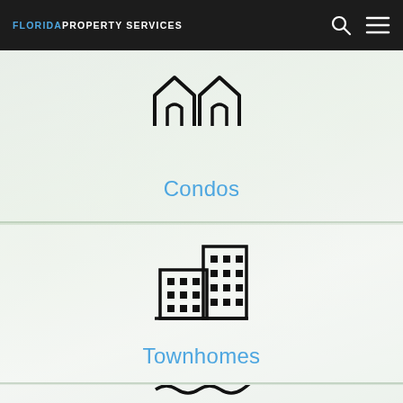FLORIDA PROPERTY SERVICES
[Figure (illustration): Icon of two house outlines side by side (condos icon), black line art]
Condos
[Figure (illustration): Icon of city buildings / townhomes, black line art]
Townhomes
[Figure (illustration): Icon of a house with water waves below (waterfront homes icon), black line art, partially visible]